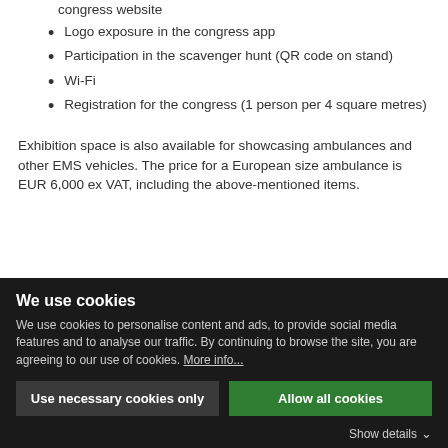congress website
Logo exposure in the congress app
Participation in the scavenger hunt (QR code on stand)
Wi-Fi
Registration for the congress (1 person per 4 square metres)
Exhibition space is also available for showcasing ambulances and other EMS vehicles. The price for a European size ambulance is EUR 6,000 ex VAT, including the above-mentioned items.
We use cookies
We use cookies to personalise content and ads, to provide social media features and to analyse our traffic. By continuing to browse the site, you are agreeing to our use of cookies. More info...
Use necessary cookies only | Allow all cookies
Show details